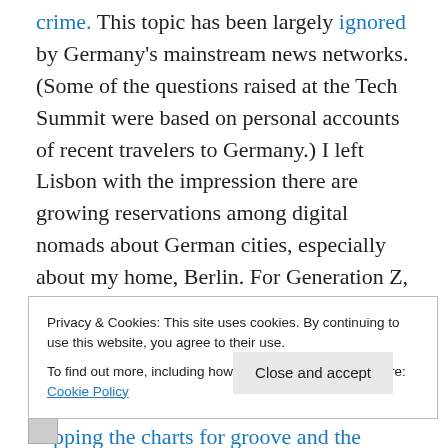crime. This topic has been largely ignored by Germany's mainstream news networks. (Some of the questions raised at the Tech Summit were based on personal accounts of recent travelers to Germany.) I left Lisbon with the impression there are growing reservations among digital nomads about German cities, especially about my home, Berlin. For Generation Z, I discovered, it no longer enjoys a reputation as a  laid-back locale for hipsters looking to start up the next Spotify or Netflix. Now it's Lisbon that's topping the charts for groove and the buzz.    Not just because of its young tech scene, its
Privacy & Cookies: This site uses cookies. By continuing to use this website, you agree to their use.
To find out more, including how to control cookies, see here: Cookie Policy
Close and accept